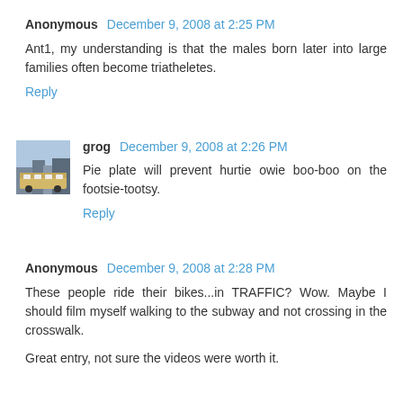Anonymous December 9, 2008 at 2:25 PM
Ant1, my understanding is that the males born later into large families often become triatheletes.
Reply
[Figure (photo): Avatar image of a train/subway scene]
grog December 9, 2008 at 2:26 PM
Pie plate will prevent hurtie owie boo-boo on the footsie-tootsy.
Reply
Anonymous December 9, 2008 at 2:28 PM
These people ride their bikes...in TRAFFIC? Wow. Maybe I should film myself walking to the subway and not crossing in the crosswalk.
Great entry, not sure the videos were worth it.